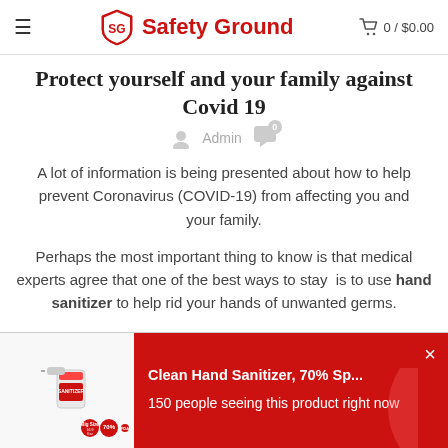Safety Ground  0 / $0.00
Protect yourself and your family against Covid 19
Admin  0
A lot of information is being presented about how to help prevent Coronavirus (COVID-19) from affecting you and your family.
Perhaps the most important thing to know is that medical experts agree that one of the best ways to stay  is to use hand sanitizer to help rid your hands of unwanted germs.
You know you need to keep your hands clean. As much as your hands serve you, they also put germs in contact with your
[Figure (infographic): Product popup banner showing a hand sanitizer spray bottle with red badges reading Big Size, 16.9 fl oz, 70%, FDA]
Clean Hand Sanitizer, 70% Sp...
150 people seeing this product right now